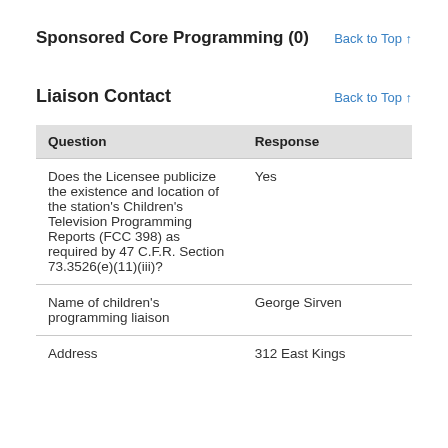Sponsored Core Programming (0)
Back to Top ↑
Liaison Contact
Back to Top ↑
| Question | Response |
| --- | --- |
| Does the Licensee publicize the existence and location of the station's Children's Television Programming Reports (FCC 398) as required by 47 C.F.R. Section 73.3526(e)(11)(iii)? | Yes |
| Name of children's programming liaison | George Sirven |
| Address | 312 East Kings |